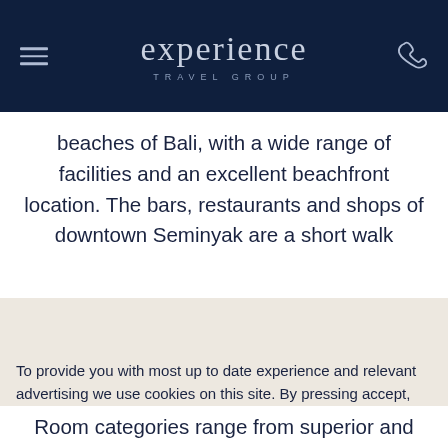experience TRAVEL GROUP
beaches of Bali, with a wide range of facilities and an excellent beachfront location. The bars, restaurants and shops of downtown Seminyak are a short walk
To provide you with most up to date experience and relevant advertising we use cookies on this site. By pressing accept, you are agreeing to the use of our cookies.
Learn more
Room categories range from superior and